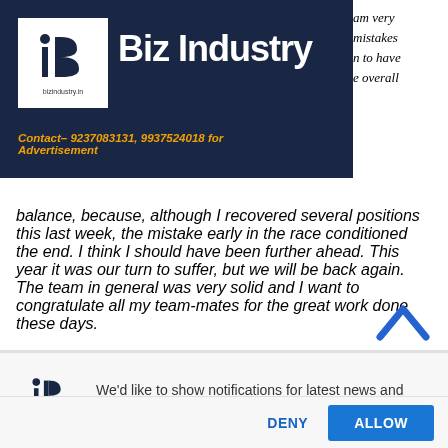Biz Industry — Contact: 9237083131, 9937524018 for Advertisement
...am very mistakes n to have e overall balance, because, although I recovered several positions this last week, the mistake early in the race conditioned the end. I think I should have been further ahead. This year it was our turn to suffer, but we will be back again. The team in general was very solid and I want to congratulate all my team-mates for the great work done these days.
We'd like to show notifications for latest news and updates